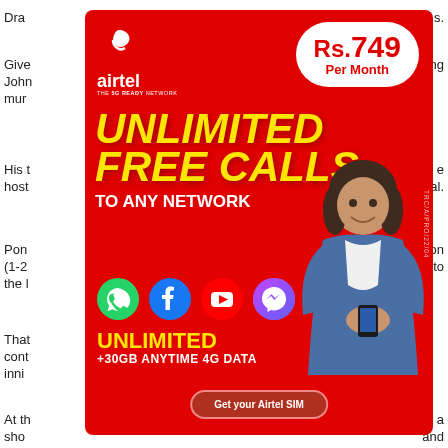Dra... s.
Give... ing John... mur...
His t... e host... al.
Pon... son (1-2... w to the l...
That... cont... inni...
At th... a sho... and
[Figure (infographic): Airtel telecom advertisement on red background. Shows Airtel logo (THE 5G READY NETWORK), price badge Rs.749 Per Month in white oval, large yellow italic text UNLIMITED FREE CALLS TO ANY NETWORK, social media icons (WhatsApp, Facebook, YouTube, Messenger), text UNLIMITED +30GB ANYTIME 4G DATA in yellow/white, Get your Airtel SIM CTA button, and a woman holding a phone on the right side. Vertical text TRC/A/PRO/22/04.]